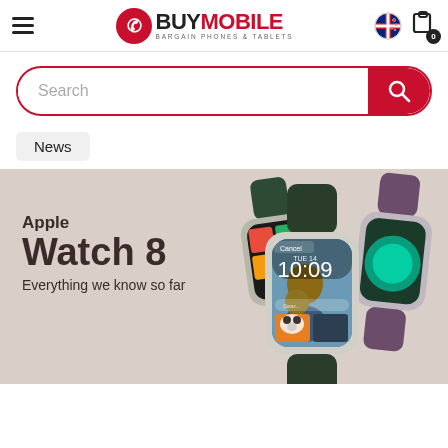[Figure (logo): BuyMobile logo with hamburger menu, NZ flag icon, and cart icon with 0 badge]
[Figure (screenshot): Search bar with red border, red search button with magnifying glass icon]
News
[Figure (infographic): Apple Watch 8 promotional banner on beige background showing two Apple Watch Series 8 models. Text reads: Apple Watch 8 - Everything we know so far]